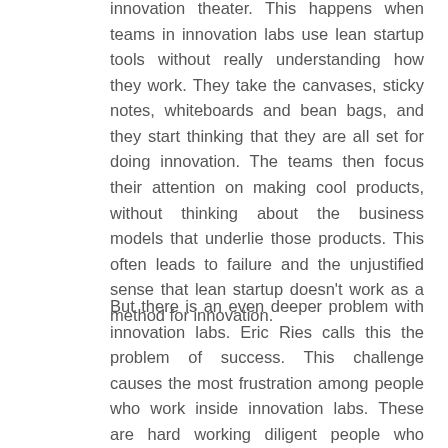innovation theater. This happens when teams in innovation labs use lean startup tools without really understanding how they work. They take the canvases, sticky notes, whiteboards and bean bags, and they start thinking that they are all set for doing innovation. The teams then focus their attention on making cool products, without thinking about the business models that underlie those products. This often leads to failure and the unjustified sense that lean startup doesn't work as a method for innovation.
But there is an even deeper problem with innovation labs. Eric Ries calls this the problem of success. This challenge causes the most frustration among people who work inside innovation labs. These are hard working diligent people who understand how to apply lean startup methods and tools the right way. They often succeed in creating great products with good business models. However, when they are ready to take these products to scale they face resistance from their parent company.